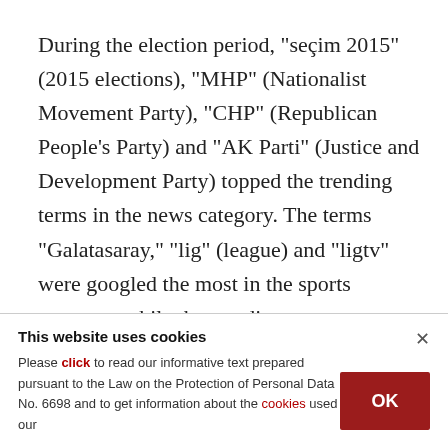During the election period, "seçim 2015" (2015 elections), "MHP" (Nationalist Movement Party), "CHP" (Republican People's Party) and "AK Parti" (Justice and Development Party) topped the trending terms in the news category. The terms "Galatasaray," "lig" (league) and "ligtv" were googled the most in the sports category, while the trendiest ones were "Liverpool," "lig puan durumu" (league scores), "super lig puan" (super
This website uses cookies
Please click to read our informative text prepared pursuant to the Law on the Protection of Personal Data No. 6698 and to get information about the cookies used on our